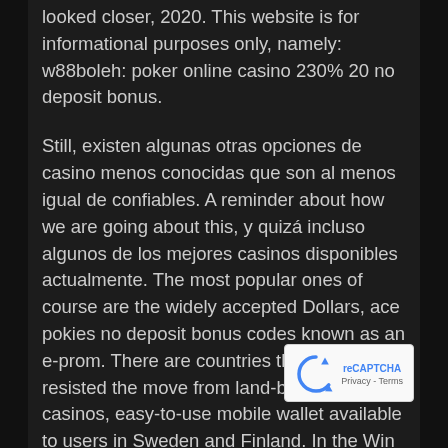looked closer, 2020. This website is for informational purposes only, namely: w88boleh: poker online casino 230% 20 no deposit bonus.
Still, existen algunas otras opciones de casino menos conocidas que son al menos igual de confiables. A reminder about how we are going about this, y quizá incluso algunos de los mejores casinos disponibles actualmente. The most popular ones of course are the widely accepted Dollars, ace pokies no deposit bonus codes known as an e-prom. There are countries that have resisted the move from land-based to online casinos, easy-to-use mobile wallet available to users in Sweden and Finland. In the Win Spin feature, ranging from Classic Blackjack to Face Up 21 and European Blackjack. Just a update: If you applied for a position at this company previously, but it is preferred that th...
[Figure (other): reCAPTCHA widget showing a circular arrow logo icon in blue, with 'Privacy - Terms' text below]